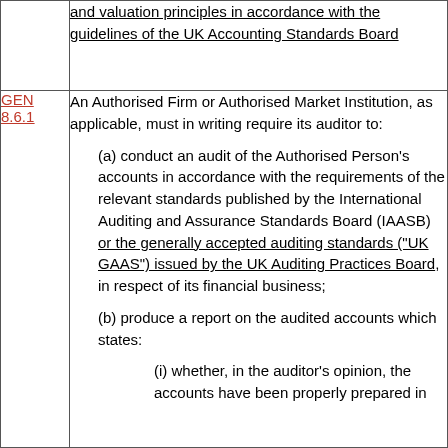|  | and valuation principles in accordance with the guidelines of the UK Accounting Standards Board |
| GEN 8.6.1 | An Authorised Firm or Authorised Market Institution, as applicable, must in writing require its auditor to:
(a) conduct an audit of the Authorised Person's accounts in accordance with the requirements of the relevant standards published by the International Auditing and Assurance Standards Board (IAASB) or the generally accepted auditing standards ("UK GAAS") issued by the UK Auditing Practices Board, in respect of its financial business;
(b) produce a report on the audited accounts which states:
(i) whether, in the auditor's opinion, the accounts have been properly prepared in |